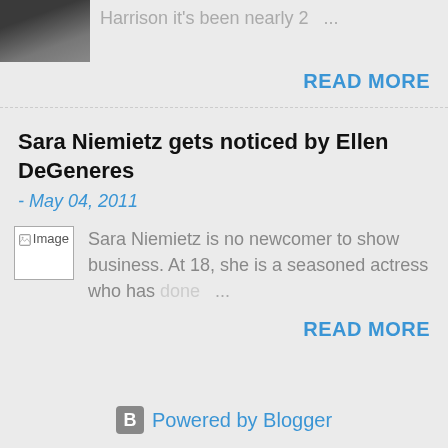[Figure (photo): Thumbnail photo of a person, partially visible at top of page]
Harrison it's been nearly 2 ...
READ MORE
Sara Niemietz gets noticed by Ellen DeGeneres
- May 04, 2011
[Figure (photo): Broken image placeholder labeled 'Image']
Sara Niemietz is no newcomer to show business. At 18, she is a seasoned actress who has done ...
READ MORE
Powered by Blogger